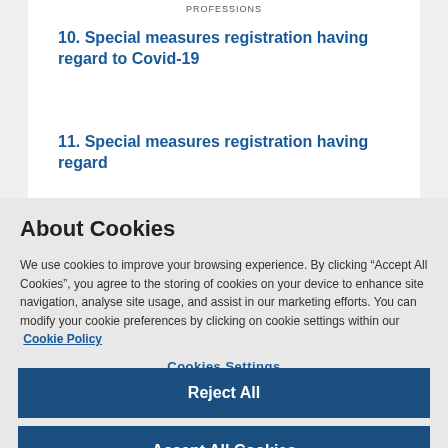PROFESSIONS
10. Special measures registration having regard to Covid-19
11. Special measures registration having regard
About Cookies
We use cookies to improve your browsing experience. By clicking “Accept All Cookies”, you agree to the storing of cookies on your device to enhance site navigation, analyse site usage, and assist in our marketing efforts. You can modify your cookie preferences by clicking on cookie settings within our  Cookie Policy
Cookies Settings
Reject All
Accept All Cookies